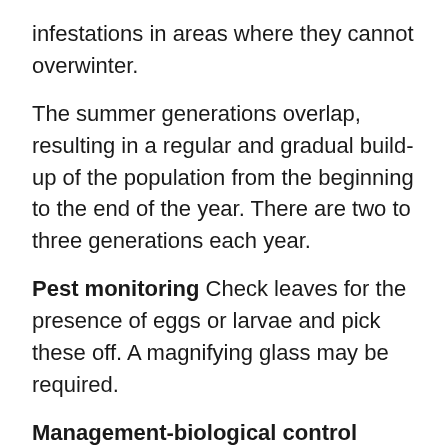infestations in areas where they cannot overwinter.
The summer generations overlap, resulting in a regular and gradual build-up of the population from the beginning to the end of the year. There are two to three generations each year.
Pest monitoring Check leaves for the presence of eggs or larvae and pick these off. A magnifying glass may be required.
Management-biological control
Many predators and parasites attack fruitworm eggs, including several species of Trichogramma. Most parasitized eggs turn black, but there may be a lag period before they do so. Releases of trichogramma wasps may give mixed results. Generalist predators such as lacewings, minute pirate bugs, and damsel bugs feed on corn earworm eggs and small larvae.